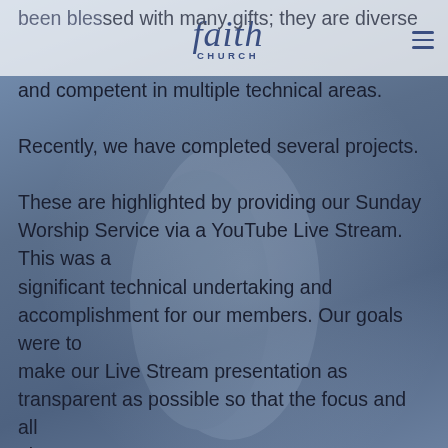faith CHURCH
been blessed with many gifts; they are diverse and competent in multiple technical areas. Recently, we have completed several projects. These are highlighted by providing our Sunday Worship Service via a YouTube Live Stream. This was a significant technical undertaking and accomplishment for our members. Our goals were to make our Live Stream presentation as transparent as possible so that the focus and all glory goes to God. For 2022, we plan to overhaul and update the